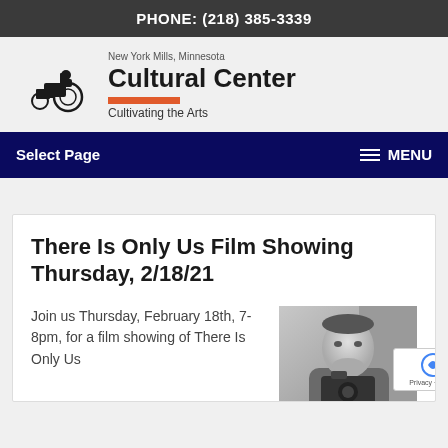PHONE: (218) 385-3339
[Figure (logo): New York Mills, Minnesota Cultural Center logo with tractor silhouette and tagline 'Cultivating the Arts']
Select Page  MENU
There Is Only Us Film Showing Thursday, 2/18/21
Join us Thursday, February 18th, 7-8pm, for a film showing of There Is Only Us
[Figure (photo): Black and white photo of a person holding a camera]